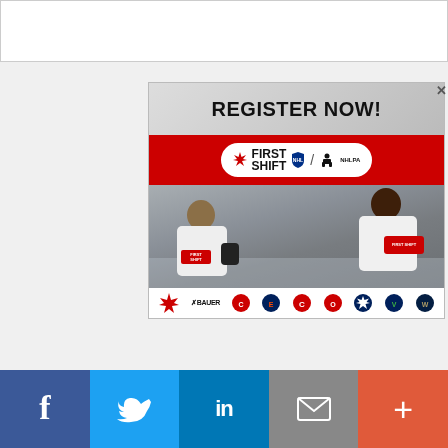[Figure (screenshot): Top white bar area (browser/article header placeholder)]
[Figure (photo): Advertisement banner: 'REGISTER NOW! First Shift NHL/NHLPA program' showing two children in hockey jerseys on ice with sponsor logos (Hockey Canada, Bauer, Calgary Flames, Edmonton Oilers, Montreal Canadiens, Ottawa Senators, Toronto Maple Leafs, Vancouver Canucks, Winnipeg Jets) and a close button X.]
[Figure (infographic): Social sharing bar at bottom with Facebook (blue), Twitter (light blue), LinkedIn (dark blue), Email (grey), and More/Plus (red-orange) buttons with respective icons.]